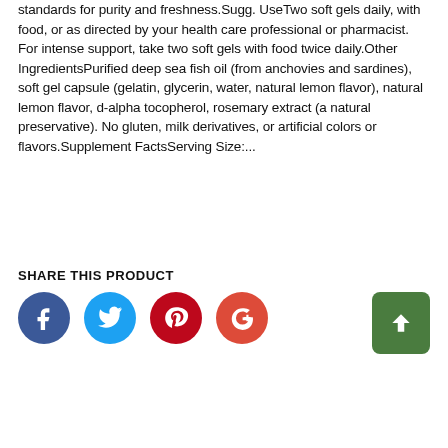standards for purity and freshness.Sugg. UseTwo soft gels daily, with food, or as directed by your health care professional or pharmacist. For intense support, take two soft gels with food twice daily.Other IngredientsPurified deep sea fish oil (from anchovies and sardines), soft gel capsule (gelatin, glycerin, water, natural lemon flavor), natural lemon flavor, d-alpha tocopherol, rosemary extract (a natural preservative). No gluten, milk derivatives, or artificial colors or flavors.Supplement FactsServing Size:...
SHARE THIS PRODUCT